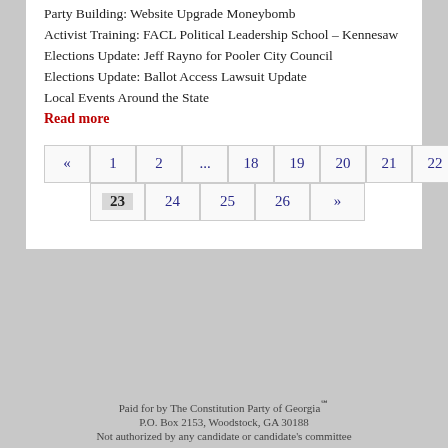Party Building:  Website Upgrade Moneybomb
Activist Training:  FACL Political Leadership School – Kennesaw
Elections Update:  Jeff Rayno for Pooler City Council
Elections Update:  Ballot Access Lawsuit Update
Local Events Around the State
Read more
« 1 2 ... 18 19 20 21 22 23 24 25 26 »
Paid for by The Constitution Party of Georgia℠
P.O. Box 2153, Woodstock, GA 30188
Not authorized by any candidate or candidate's committee